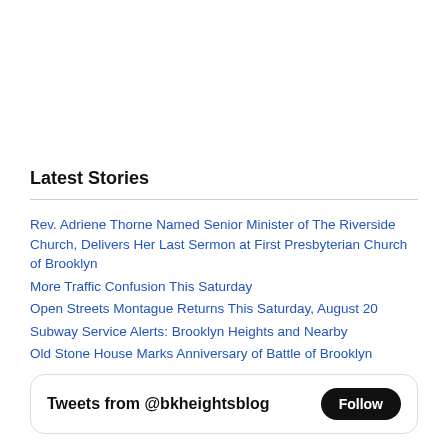Latest Stories
Rev. Adriene Thorne Named Senior Minister of The Riverside Church, Delivers Her Last Sermon at First Presbyterian Church of Brooklyn
More Traffic Confusion This Saturday
Open Streets Montague Returns This Saturday, August 20
Subway Service Alerts: Brooklyn Heights and Nearby
Old Stone House Marks Anniversary of Battle of Brooklyn
Tweets from @bkheightsblog Follow